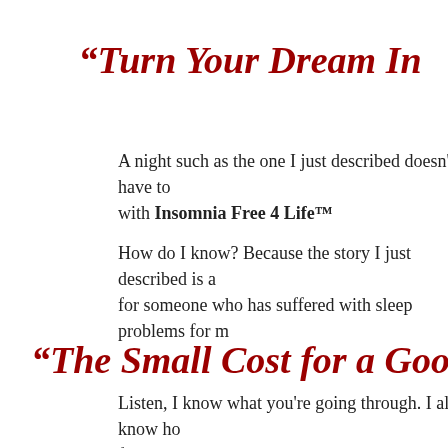“Turn Your Dream In
A night such as the one I just described doesn't have to with Insomnia Free 4 Life™
How do I know? Because the story I just described is a for someone who has suffered with sleep problems for m
“The Small Cost for a Gooo
Listen, I know what you're going through. I also know ho find a cure to your sleep problems.